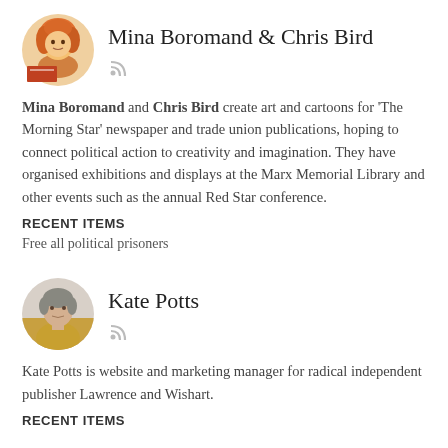[Figure (photo): Circular avatar photo of Mina Boromand with orange/red hair, illustrated cartoon style]
Mina Boromand & Chris Bird
Mina Boromand and Chris Bird create art and cartoons for 'The Morning Star' newspaper and trade union publications, hoping to connect political action to creativity and imagination. They have organised exhibitions and displays at the Marx Memorial Library and other events such as the annual Red Star conference.
RECENT ITEMS
Free all political prisoners
[Figure (photo): Circular avatar photo of Kate Potts, a woman with short hair wearing a yellow/mustard top]
Kate Potts
Kate Potts is website and marketing manager for radical independent publisher Lawrence and Wishart.
RECENT ITEMS